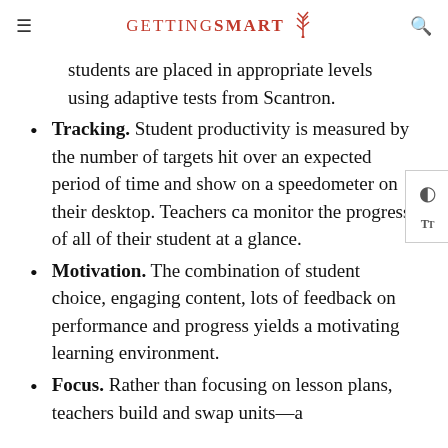GETTING SMART
students are placed in appropriate levels using adaptive tests from Scantron.
Tracking. Student productivity is measured by the number of targets hit over an expected period of time and show on a speedometer on their desktop. Teachers can monitor the progress of all of their students at a glance.
Motivation. The combination of student choice, engaging content, lots of feedback on performance and progress yields a motivating learning environment.
Focus. Rather than focusing on lesson plans, teachers build and swap units—a